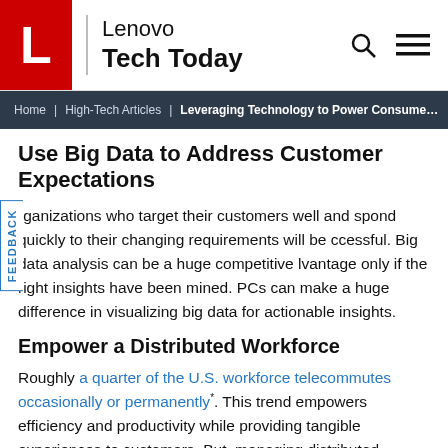Lenovo Tech Today
Home | High-Tech Articles | Leveraging Technology to Power Consume...
Use Big Data to Address Customer Expectations
Organizations who target their customers well and respond quickly to their changing requirements will be successful. Big data analysis can be a huge competitive advantage only if the right insights have been mined. PCs can make a huge difference in visualizing big data for actionable insights.
Empower a Distributed Workforce
Roughly a quarter of the U.S. workforce telecommutes occasionally or permanently*. This trend empowers efficiency and productivity while providing tangible experiences to customers. But, managing distributed workforces can be tough. Organizations need to equip